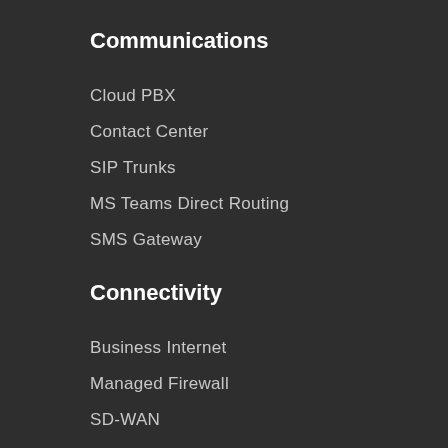Communications
Cloud PBX
Contact Center
SIP Trunks
MS Teams Direct Routing
SMS Gateway
Connectivity
Business Internet
Managed Firewall
SD-WAN
Managed WiFi
Data Center